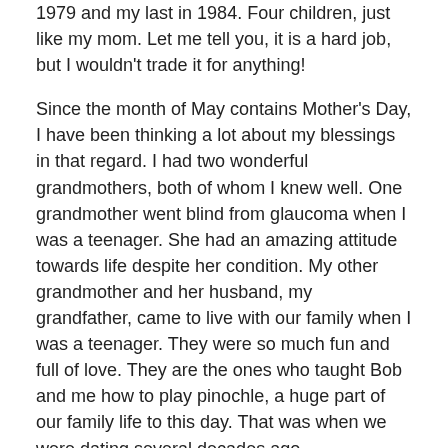1979 and my last in 1984. Four children, just like my mom. Let me tell you, it is a hard job, but I wouldn't trade it for anything!
Since the month of May contains Mother's Day, I have been thinking a lot about my blessings in that regard. I had two wonderful grandmothers, both of whom I knew well. One grandmother went blind from glaucoma when I was a teenager. She had an amazing attitude towards life despite her condition. My other grandmother and her husband, my grandfather, came to live with our family when I was a teenager. They were so much fun and full of love. They are the ones who taught Bob and me how to play pinochle, a huge part of our family life to this day. That was when we were dating several decades ago.
My mom lives with us now, and that is a huge blessing and a wonderful opportunity. She loves Jesus and she loves...